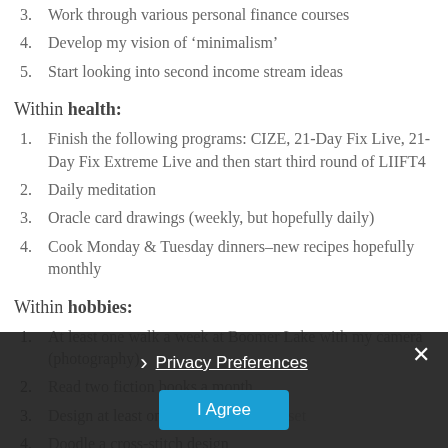3. Work through various personal finance courses
4. Develop my vision of 'minimalism'
5. Start looking into second income stream ideas
Within health:
1. Finish the following programs: CIZE, 21-Day Fix Live, 21-Day Fix Extreme Live and then start third round of LIIFT4
2. Daily meditation
3. Oracle card drawings (weekly, but hopefully daily)
4. Cook Monday & Tuesday dinners–new recipes hopefully monthly
Within hobbies:
1. At least one walk a week at Boomer Lake with my camera (photography)
2. Read two fiction books a month
3. Design at least one bracelet/necklace set
4. Doodle a cross-stitch design